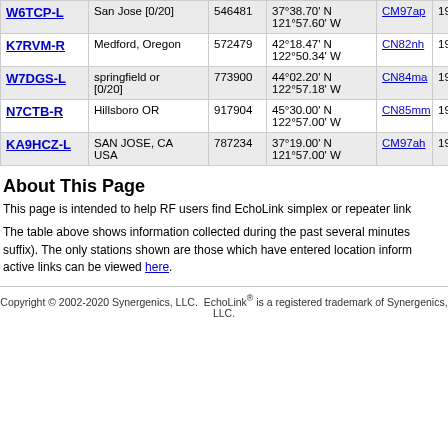| Callsign | Location | Node | Coordinates | Grid | Freq |  |
| --- | --- | --- | --- | --- | --- | --- |
| W6TCP-L | San Jose [0/20] | 546481 | 37°38.70' N 121°57.60' W | CM97ap | 1987.9 |  |
| K7RVM-R | Medford, Oregon | 572479 | 42°18.47' N 122°50.34' W | CN82nh | 1990.2 |  |
| W7DGS-L | springfield or [0/20] | 773900 | 44°02.20' N 122°57.18' W | CN84ma | 1991.2 |  |
| N7CTB-R | Hillsboro OR | 917904 | 45°30.00' N 122°57.00' W | CN85mm | 1992.1 | 14 |
| KA9HCZ-L | SAN JOSE, CA USA | 787234 | 37°19.00' N 121°57.00' W | CM97ah | 1992.1 | 14 |
About This Page
This page is intended to help RF users find EchoLink simplex or repeater link
The table above shows information collected during the past several minutes. suffix). The only stations shown are those which have entered location inform. active links can be viewed here.
Simplex links (-L) show the location, frequency, and antenna information of th frequency, and antenna information of the repeater it serves. The values in th
Copyright © 2002-2020 Synergenics, LLC.  EchoLink® is a registered trademark of Synergenics, LLC.